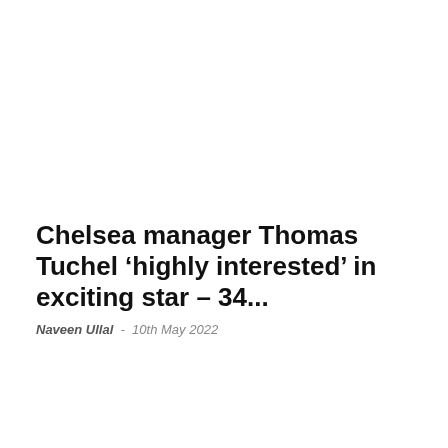Chelsea manager Thomas Tuchel ‘highly interested’ in exciting star – 34...
Naveen Ullal  -  10th May 2022